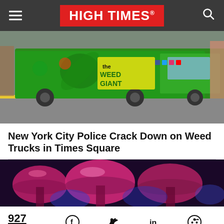HIGH TIMES
[Figure (photo): A large truck wrapped in bright green graffiti-style artwork reading 'The Weed Giant' with cannabis leaf designs, parked on a city street with yellow curb markings.]
New York City Police Crack Down on Weed Trucks in Times Square
[Figure (photo): Close-up of glowing pink and blue mushrooms in neon/UV lighting, macro photography.]
927 Share